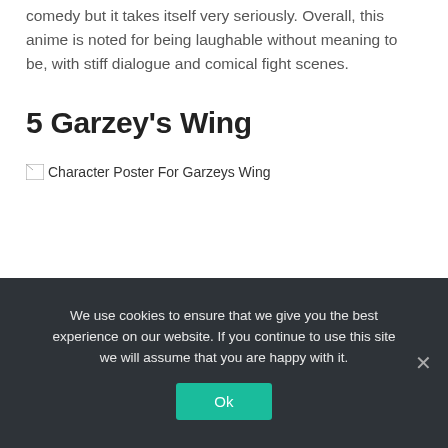comedy but it takes itself very seriously. Overall, this anime is noted for being laughable without meaning to be, with stiff dialogue and comical fight scenes.
5 Garzey's Wing
[Figure (photo): Broken image placeholder with alt text: Character Poster For Garzeys Wing]
We use cookies to ensure that we give you the best experience on our website. If you continue to use this site we will assume that you are happy with it.